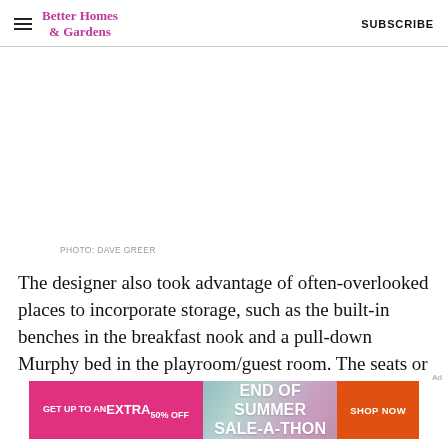Better Homes & Gardens | SUBSCRIBE
[Figure (photo): White/blank image area with photo credit PHOTO: DAVE GREER]
PHOTO: DAVE GREER
The designer also took advantage of often-overlooked places to incorporate storage, such as the built-in benches in the breakfast nook and a pull-down Murphy bed in the playroom/guest room. The seats or
[Figure (infographic): Advertisement banner: GET UP TO AN EXTRA 50% OFF | END OF SUMMER SALE-A-THON | SHOP NOW]